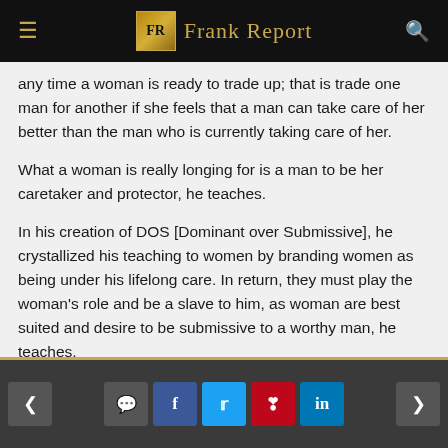Frank Report
any time a woman is ready to trade up; that is trade one man for another if she feels that a man can take care of her better than the man who is currently taking care of her.
What a woman is really longing for is a man to be her caretaker and protector, he teaches.
In his creation of DOS [Dominant over Submissive], he crystallized his teaching to women by branding women as being under his lifelong care. In return, they must play the woman's role and be a slave to him, as woman are best suited and desire to be submissive to a worthy man, he teaches.
Mr. Raniere suggests that, with his advanced
< comment facebook twitter pinterest linkedin >